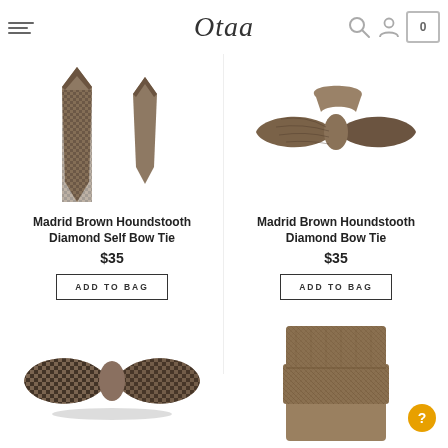Otaa
[Figure (photo): Madrid Brown Houndstooth Diamond Self Bow Tie product image showing two views of a brown houndstooth bow tie]
Madrid Brown Houndstooth Diamond Self Bow Tie
$35
ADD TO BAG
[Figure (photo): Madrid Brown Houndstooth Diamond Bow Tie product image showing a brown houndstooth bow tie folded]
Madrid Brown Houndstooth Diamond Bow Tie
$35
ADD TO BAG
[Figure (photo): Bottom left: brown houndstooth bow tie partial image]
[Figure (photo): Bottom right: brown textured necktie partial image]